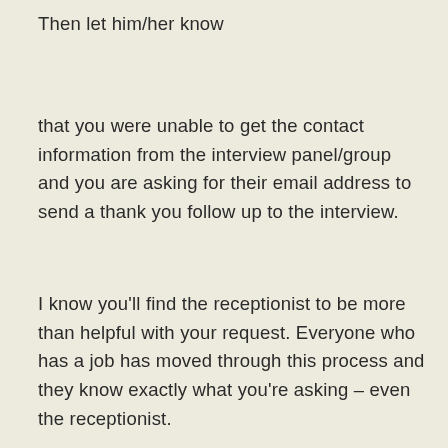Then let him/her know
that you were unable to get the contact information from the interview panel/group and you are asking for their email address to send a thank you follow up to the interview.
I know you'll find the receptionist to be more than helpful with your request. Everyone who has a job has moved through this process and they know exactly what you're asking – even the receptionist.